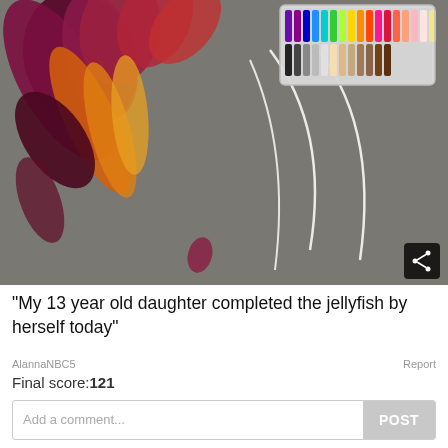[Figure (photo): Overhead photo of chalk art on pavement showing colorful jellyfish tentacles in dark red, magenta, orange, and yellow chalk, with white curved chalk lines and a plastic box of chalk markers/pastels in upper right corner]
"My 13 year old daughter completed the jellyfish by herself today"
AlannaNBC5
Report
Final score:121
Add a comment...
POST
Lulu the ©LICENSED POTTERHEAD® 2 years ago
only 13!!??!??!!?!?!??